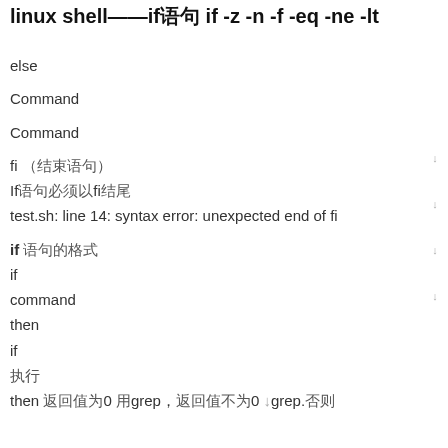linux shell——if if -z -n -f -eq -ne -lt
else
Command
Command
fi （结束语句）
If语句必须以fi结尾
test.sh: line 14: syntax error: unexpected end of fi
if 语句的格式
if
command
then
if
执行
then 返回值为0 用grep，返回值不为0 用grep.否则